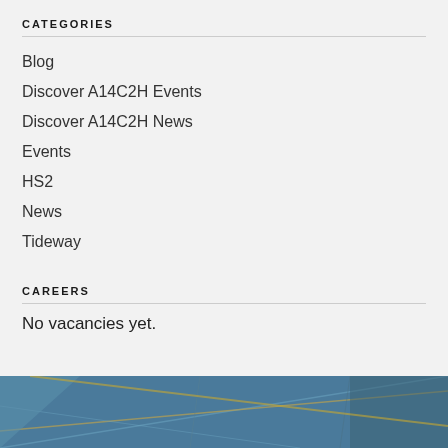CATEGORIES
Blog
Discover A14C2H Events
Discover A14C2H News
Events
HS2
News
Tideway
CAREERS
No vacancies yet.
[Figure (photo): Partial view of a blue-toned structure or fabric with angled lines, possibly a construction site or canopy, at the bottom of the page.]